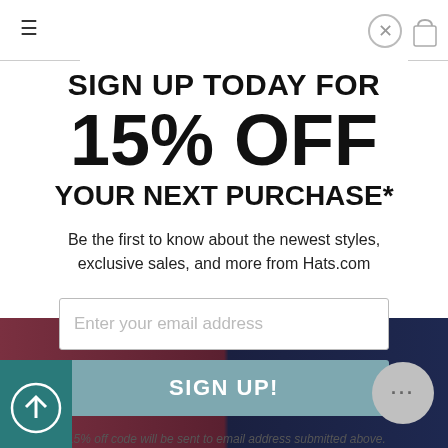SIGN UP TODAY FOR 15% OFF YOUR NEXT PURCHASE*
Be the first to know about the newest styles, exclusive sales, and more from Hats.com
Enter your email address
SIGN UP!
*15% off code will be sent to email address submitted above. Some exclusions apply.